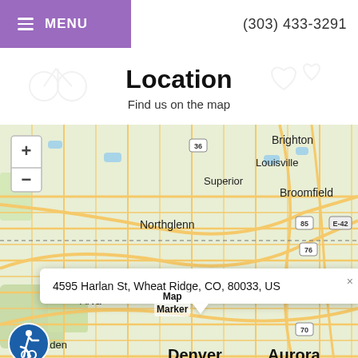≡ MENU   (303) 433-3291
Location
Find us on the map
[Figure (map): OpenStreetMap showing Denver metro area with cities: Louisville, Superior, Broomfield, Northglenn, Brighton, Arvada, Commerce City, Golden, Denver, Aurora, Lakewood. Map marker at 4595 Harlan St, Wheat Ridge, CO. Zoom +/- controls visible. Route labels: 36, 85, 76, 70, E-42.]
4595 Harlan St, Wheat Ridge, CO, 80033, US
Map
Marker